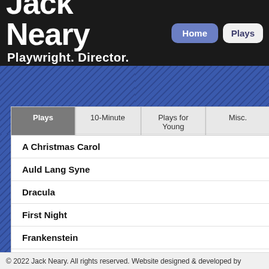Jack Neary — Playwright. Director. Actor.
Home | Plays
Plays | 10-Minute | Plays for Young | Misc.
A Christmas Carol
Auld Lang Syne
Dracula
First Night
Frankenstein
Jerry Finnegan's Sister
Kong's Night Out
Moonglow
Night of the Bully
A Christm...
Jack Near...
In 2002, I w... Foothills Th... this Dicken... adapted 6,... it would be... things, all t... intent, style... story. So, b...
© 2022 Jack Neary. All rights reserved. Website designed & developed by